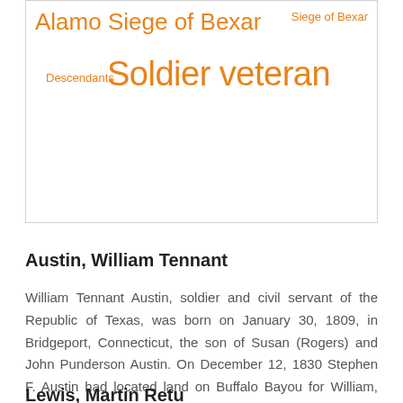[Figure (infographic): Word/tag cloud inside a bordered box showing orange-colored terms: 'Alamo Siege of Bexar' (large), 'Siege of Bexar' (small), 'Descendants' (small), 'Soldier veteran' (large)]
Austin, William Tennant
William Tennant Austin, soldier and civil servant of the Republic of Texas, was born on January 30, 1809, in Bridgeport, Connecticut, the son of Susan (Rogers) and John Punderson Austin. On December 12, 1830 Stephen F. Austin had located land on Buffalo Bayou for William, who had established a mercantile trade before the end of [...]
Lewis, Martin Retu